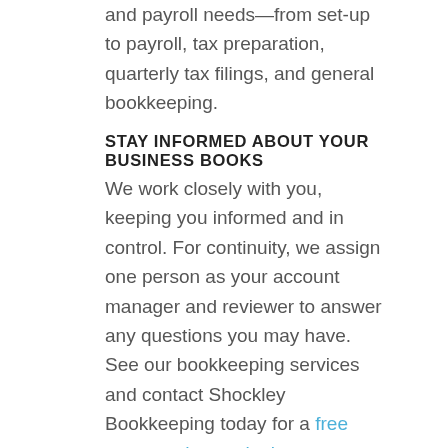and payroll needs—from set-up to payroll, tax preparation, quarterly tax filings, and general bookkeeping.
STAY INFORMED ABOUT YOUR BUSINESS BOOKS
We work closely with you, keeping you informed and in control. For continuity, we assign one person as your account manager and reviewer to answer any questions you may have. See our bookkeeping services and contact Shockley Bookkeeping today for a free quote and consultation.
RECENT POSTS
5 Ways to Tell You Need a New Tax Planning Service